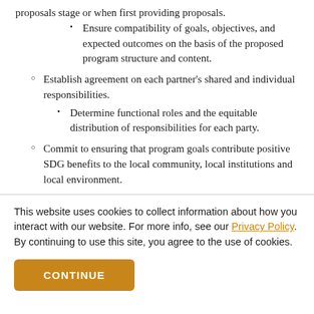proposals stage or when first providing proposals.
Ensure compatibility of goals, objectives, and expected outcomes on the basis of the proposed program structure and content.
Establish agreement on each partner’s shared and individual responsibilities.
Determine functional roles and the equitable distribution of responsibilities for each party.
Commit to ensuring that program goals contribute positive SDG benefits to the local community, local institutions and local environment.
Agree to work towards eliminating the negative impacts that result from any program activity.
This website uses cookies to collect information about how you interact with our website. For more info, see our Privacy Policy. By continuing to use this site, you agree to the use of cookies.